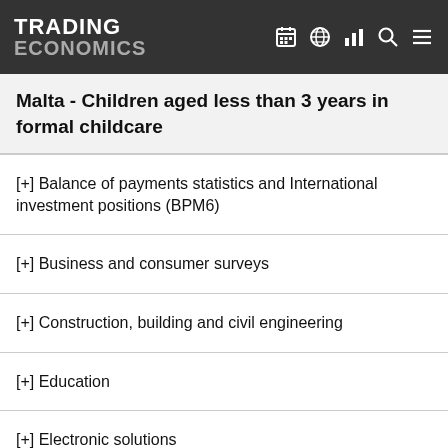TRADING ECONOMICS
Malta - Children aged less than 3 years in formal childcare
[+] Balance of payments statistics and International investment positions (BPM6)
[+] Business and consumer surveys
[+] Construction, building and civil engineering
[+] Education
[+] Electronic solutions
[+] Employment
[+] Energy statistics
[+] Final consumption expenditure of households and